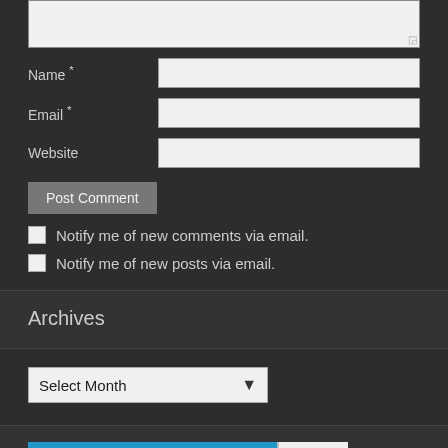[Figure (screenshot): Comment form textarea (top portion, partially visible)]
Name *
Email *
Website
Post Comment
Notify me of new comments via email.
Notify me of new posts via email.
Archives
Select Month
Follow Rantings Of A Third Kind   3,529